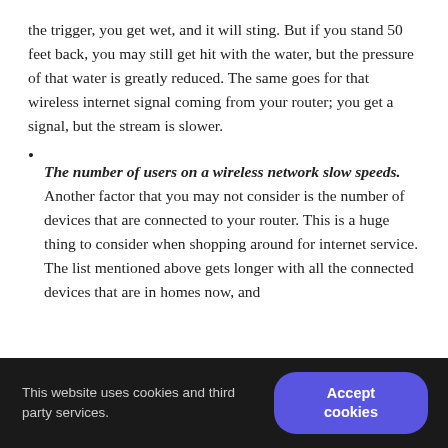the trigger, you get wet, and it will sting. But if you stand 50 feet back, you may still get hit with the water, but the pressure of that water is greatly reduced. The same goes for that wireless internet signal coming from your router; you get a signal, but the stream is slower.
The number of users on a wireless network slow speeds. Another factor that you may not consider is the number of devices that are connected to your router. This is a huge thing to consider when shopping around for internet service. The list mentioned above gets longer with all the connected devices that are in homes now, and
This website uses cookies and third party services.